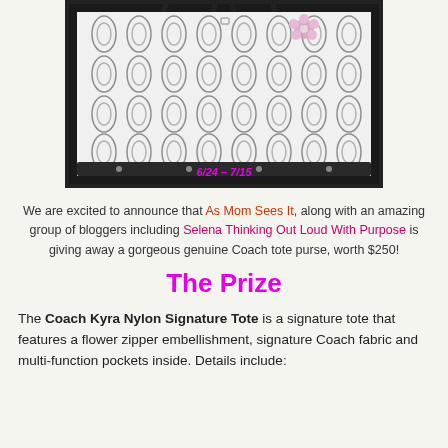[Figure (photo): Coach Kyra Nylon Signature Tote bag in black/grey signature pattern with flower zipper charm, displayed against white background inside a dark frame. Date text '6/24 - 7/15' overlaid in magenta italic.]
We are excited to announce that As Mom Sees It, along with an amazing group of bloggers including Selena Thinking Out Loud With Purpose is giving away a gorgeous genuine Coach tote purse, worth $250!
The Prize
The Coach Kyra Nylon Signature Tote is a signature tote that features a flower zipper embellishment, signature Coach fabric and multi-function pockets inside. Details include: